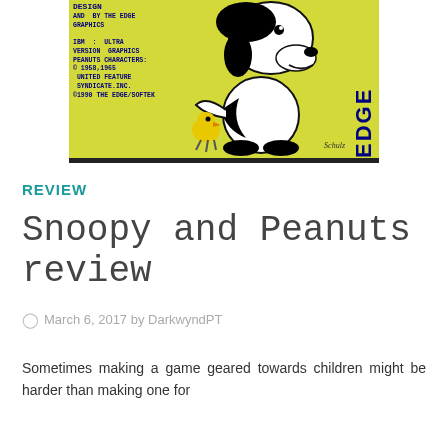[Figure (screenshot): Screenshot of the Snoopy and Peanuts game title screen on a yellow-green background, showing pixel art of Snoopy and Woodstock, THE EDGE logo text on the right, and copyright/version text on the left. Signed 'Schulz' at lower right.]
REVIEW
Snoopy and Peanuts review
March 6, 2017 by DarkwyndPT
Sometimes making a game geared towards children might be harder than making one for